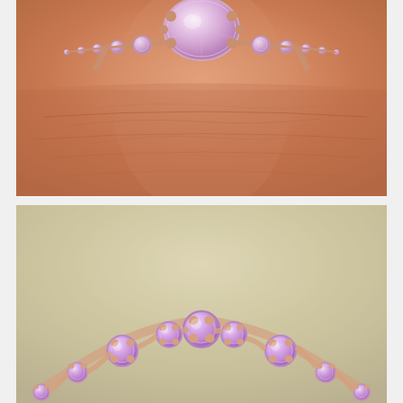[Figure (photo): Close-up photograph of a hand wearing a rose gold engagement ring with a large oval pink morganite center stone surrounded by smaller round pink stones on the band. The skin texture is visible in detail.]
[Figure (photo): Studio photograph of a rose gold ring band featuring a curved/arc arrangement of round pink sapphires in prong settings, displayed against a soft beige/cream background, showing the front view of the band in an arc shape.]